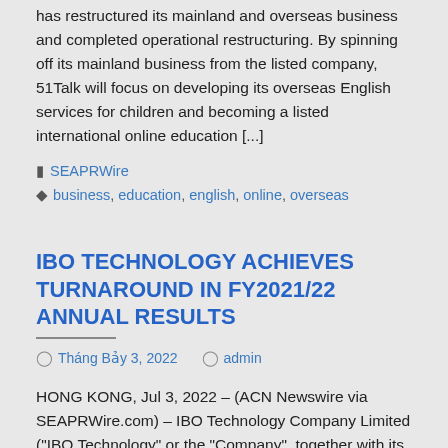has restructured its mainland and overseas business and completed operational restructuring. By spinning off its mainland business from the listed company, 51Talk will focus on developing its overseas English services for children and becoming a listed international online education [...]
SEAPRWire
business, education, english, online, overseas
IBO TECHNOLOGY ACHIEVES TURNAROUND IN FY2021/22 ANNUAL RESULTS
Tháng Bảy 3, 2022   admin
HONG KONG, Jul 3, 2022 – (ACN Newswire via SEAPRWire.com) – IBO Technology Company Limited ("IBO Technology" or the "Company", together with its